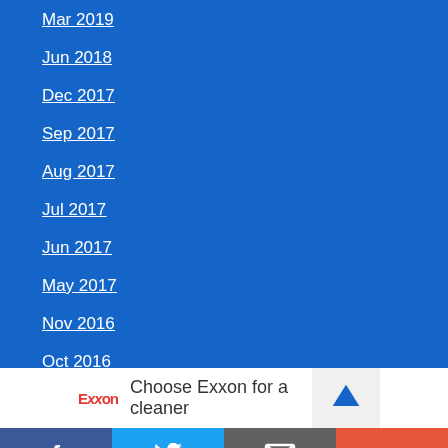Mar 2019
Jun 2018
Dec 2017
Sep 2017
Aug 2017
Jul 2017
Jun 2017
May 2017
Nov 2016
Oct 2016
Sep 2016
[Figure (infographic): Exxon advertisement banner: Exxon logo and text 'Choose Exxon for a cleaner' with an arrow icon]
[Figure (infographic): Social media sharing bar with Facebook, Twitter, email/bookmark, and more (+) buttons]